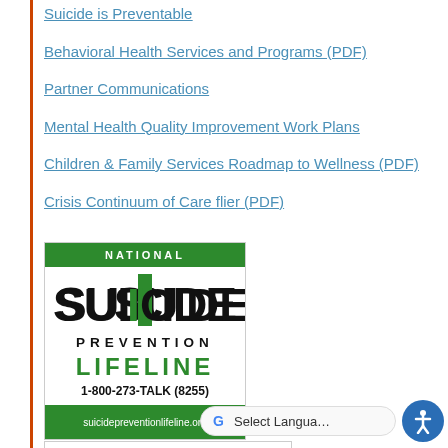Suicide is Preventable
Behavioral Health Services and Programs (PDF)
Partner Communications
Mental Health Quality Improvement Work Plans
Children & Family Services Roadmap to Wellness (PDF)
Crisis Continuum of Care flier (PDF)
[Figure (logo): National Suicide Prevention Lifeline logo with green banner, large SUICIDE text, PREVENTION text, LIFELINE in green, phone number 1-800-273-TALK (8255), and suicidepreventionlifeline.org website]
[Figure (logo): IOA Connect - Answering your call on aging - Friendship Line logo with orange arc and teal text]